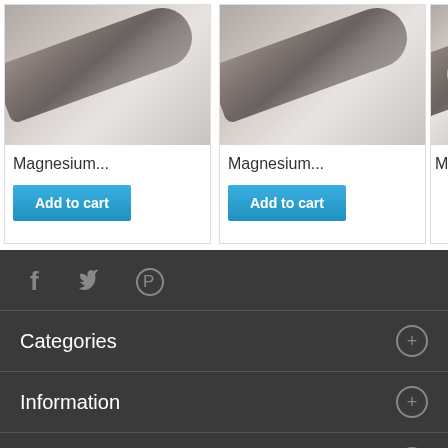[Figure (photo): Product image of magnesium metal bar/ingot, partially cropped at top]
Magnesium...
Add to cart
[Figure (photo): Product image of magnesium metal bar/ingot, partially cropped at top]
Magnesium...
Add to cart
[Figure (photo): Partially visible product card with navigation arrow, cropped at right edge]
Ma
A
[Figure (other): Social media icons: Facebook, Twitter, Pinterest]
Categories
Information
My account